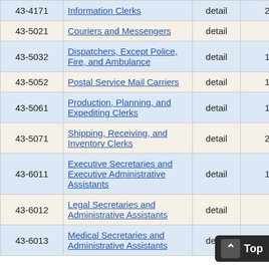| Code | Occupation | Level | Employment |  |
| --- | --- | --- | --- | --- |
| 43-4171 | Information Clerks | detail | 270 |  |
| 43-5021 | Couriers and Messengers | detail | 40 | 13 |
| 43-5032 | Dispatchers, Except Police, Fire, and Ambulance | detail | 100 | 21 |
| 43-5052 | Postal Service Mail Carriers | detail | 120 | 0 |
| 43-5061 | Production, Planning, and Expediting Clerks | detail | 190 | 4 |
| 43-5071 | Shipping, Receiving, and Inventory Clerks | detail | 250 | 6 |
| 43-6011 | Executive Secretaries and Executive Administrative Assistants | detail | 150 | 6 |
| 43-6012 | Legal Secretaries and Administrative Assistants | detail | 50 | 21 |
| 43-6013 | Medical Secretaries and Administrative Assistants | detail | 33 |  |